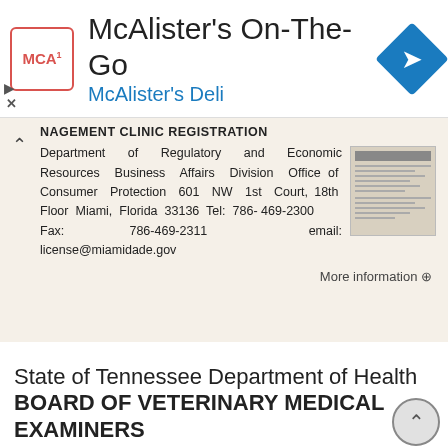[Figure (logo): McAlister's Deli advertisement banner with logo, text and navigation icon]
NAGEMENT CLINIC REGISTRATION
Department of Regulatory and Economic Resources Business Affairs Division Office of Consumer Protection 601 NW 1st Court, 18th Floor Miami, Florida 33136 Tel: 786-469-2300 Fax: 786-469-2311 email: license@miamidade.gov
More information →
State of Tennessee Department of Health BOARD OF VETERINARY MEDICAL EXAMINERS
State of Tennessee Department of Health BOARD OF VETERINARY MEDICAL EXAMINERS 665 Mainstream Drive Nashville